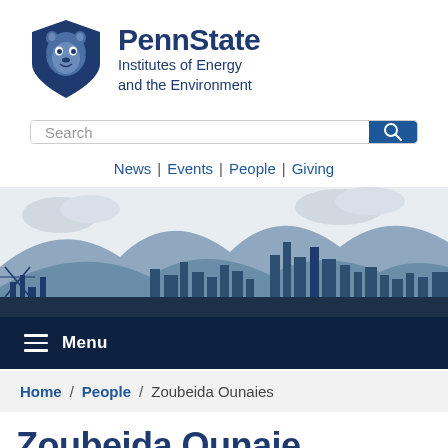[Figure (logo): Penn State Institutes of Energy and the Environment logo with lion shield and text]
[Figure (screenshot): Search bar with text input and blue search button]
News | Events | People | Giving
[Figure (illustration): Illustrated city skyline with mountains and clouds in blue tones]
Menu
Home / People / Zoubeida Ounaies
Zoubeida Ounaies